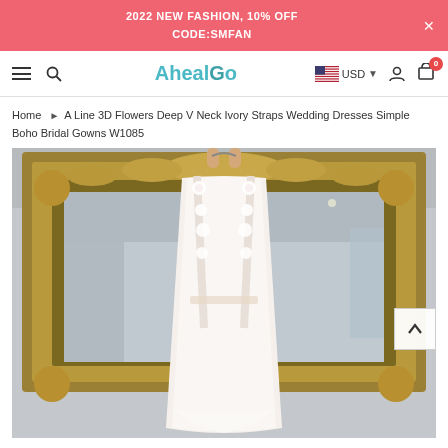2022 NEW FASHION, 10% OFF
CODE:SMFAN
[Figure (screenshot): Website navigation bar with hamburger menu, search icon, AhealGo logo, USD currency selector with US flag, user account icon, and shopping cart with badge showing 0]
Home ▶ A Line 3D Flowers Deep V Neck Ivory Straps Wedding Dresses Simple Boho Bridal Gowns W1085
[Figure (photo): Back view of a wedding dress with 3D flowers on straps displayed against an ornate gold mirror frame in a bridal store]